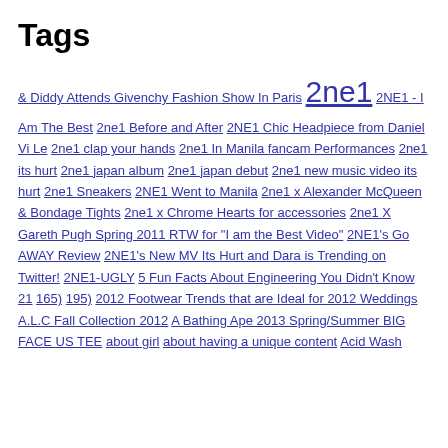Tags
& Diddy Attends Givenchy Fashion Show In Paris  2ne1  2NE1 - I Am The Best  2ne1 Before and After  2NE1 Chic Headpiece from Daniel Vi Le  2ne1 clap your hands  2ne1 In Manila fancam Performances  2ne1 its hurt  2ne1 japan album  2ne1 japan debut  2ne1 new music video its hurt  2ne1 Sneakers  2NE1 Went to Manila  2ne1 x Alexander McQueen & Bondage Tights  2ne1 x Chrome Hearts for accessories  2ne1 X Gareth Pugh Spring 2011 RTW for "I am the Best Video"  2NE1's Go AWAY Review  2NE1's New MV Its Hurt and Dara is Trending on Twitter!  2NE1-UGLY  5 Fun Facts About Engineering You Didn't Know  21  165)  195)  2012 Footwear Trends that are Ideal for 2012 Weddings  A.L.C Fall Collection 2012  A Bathing Ape 2013 Spring/Summer BIG FACE US TEE  about girl  about having a unique content  Acid Wash